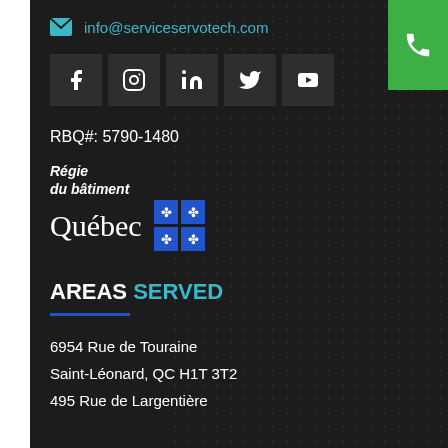info@serviceservotech.com
[Figure (infographic): Social media icons row: Facebook, Instagram, LinkedIn, Twitter, YouTube]
RBQ#: 5790-1480
[Figure (logo): Régie du bâtiment Québec logo with fleur-de-lis grid]
AREAS SERVED
6954 Rue de Touraine
Saint-Léonard, QC H1T 3T2
495 Rue de Largentière